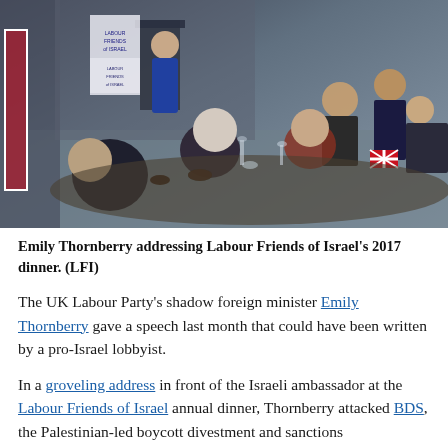[Figure (photo): Photo of Emily Thornberry addressing Labour Friends of Israel's 2017 dinner. A woman in blue dress stands at a podium with 'Labour Friends of Israel' banner visible. Several guests are seated at a formal dinner table in the foreground, with British flags visible.]
Emily Thornberry addressing Labour Friends of Israel's 2017 dinner. (LFI)
The UK Labour Party's shadow foreign minister Emily Thornberry gave a speech last month that could have been written by a pro-Israel lobbyist.
In a groveling address in front of the Israeli ambassador at the Labour Friends of Israel annual dinner, Thornberry attacked BDS, the Palestinian-led boycott divestment and sanctions